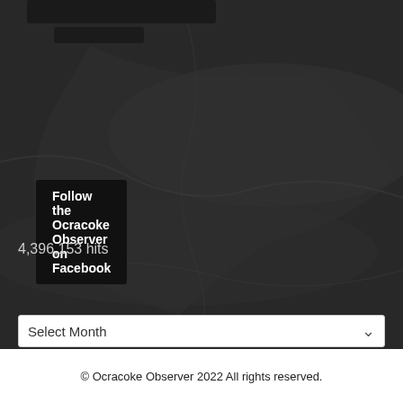[Figure (screenshot): Dark aerial/satellite map texture background covering most of the page]
Follow the Ocracoke Observer on Facebook
Website Stats
4,396,153 hits
Archives
Select Month
© Ocracoke Observer 2022 All rights reserved.